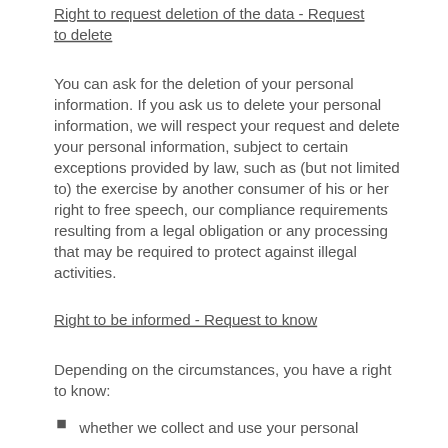Right to request deletion of the data - Request to delete
You can ask for the deletion of your personal information. If you ask us to delete your personal information, we will respect your request and delete your personal information, subject to certain exceptions provided by law, such as (but not limited to) the exercise by another consumer of his or her right to free speech, our compliance requirements resulting from a legal obligation or any processing that may be required to protect against illegal activities.
Right to be informed - Request to know
Depending on the circumstances, you have a right to know:
whether we collect and use your personal